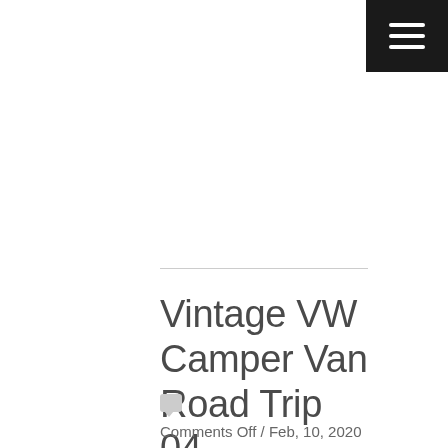≡ (menu icon)
Vintage VW Camper Van Road Trip 04
Comments Off / Feb, 10, 2020 / Stockphotodesign.com /